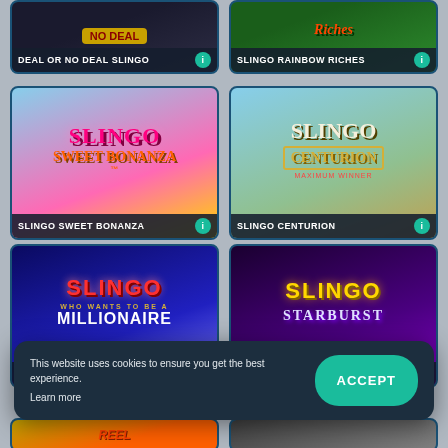[Figure (screenshot): Game tile: Deal or No Deal Slingo - dark themed with 'NO DEAL' text visible]
[Figure (screenshot): Game tile: Slingo Rainbow Riches - green themed with Rainbow Riches logo]
[Figure (screenshot): Game tile: Slingo Sweet Bonanza - colorful candy themed with Sweet Bonanza logo]
[Figure (screenshot): Game tile: Slingo Centurion - countryside themed with Roman Centurion logo]
[Figure (screenshot): Game tile: Slingo Who Wants to Be a Millionaire - blue themed with millionaire logo]
[Figure (screenshot): Game tile: Slingo Starburst - purple space themed with Starburst logo]
This website uses cookies to ensure you get the best experience. Learn more
[Figure (screenshot): Partial game tile at bottom left - reel themed]
[Figure (screenshot): Partial game tile at bottom right]